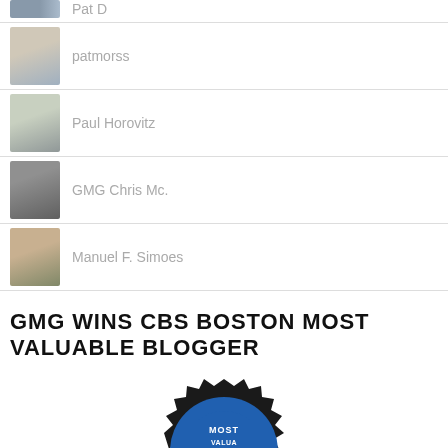Pat D
patmorss
Paul Horovitz
GMG Chris Mc.
Manuel F. Simoes
GMG WINS CBS BOSTON MOST VALUABLE BLOGGER
[Figure (logo): Partial badge/seal reading 'Most Valuable Blogger' in blue and black with gear/star border]